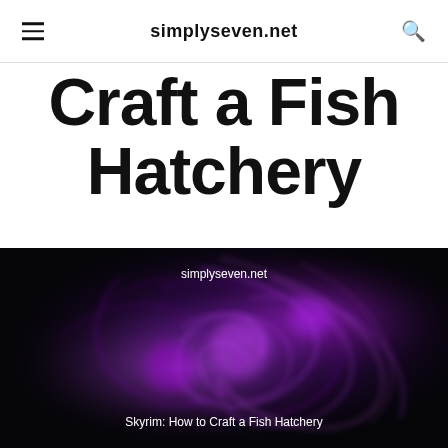simplyseven.net
Craft a Fish Hatchery
JAMES GUSSIE   DECEMBER 1, 2021
[Figure (photo): Dark background with glowing purple swirling light streaks/particles, resembling a nebula or magical energy. White text overlay reads 'simplyseven.net' at the top and 'Skyrim: How to Craft a Fish Hatchery' near the bottom.]